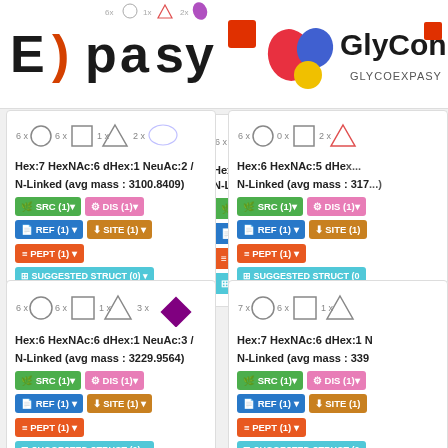[Figure (logo): ExPASy and GlyConnect logos in header]
Hex:7 HexNAc:6 dHex:1 NeuAc:2 / N-Linked (avg mass : 3100.8409)
Hex:6 HexNAc:5 dHex:... / N-Linked (avg mass : 317...)
Hex:6 HexNAc:6 dHex:1 NeuAc:3 / N-Linked (avg mass : 3229.9564)
Hex:7 HexNAc:6 dHex:1 N... / N-Linked (avg mass : 339...)